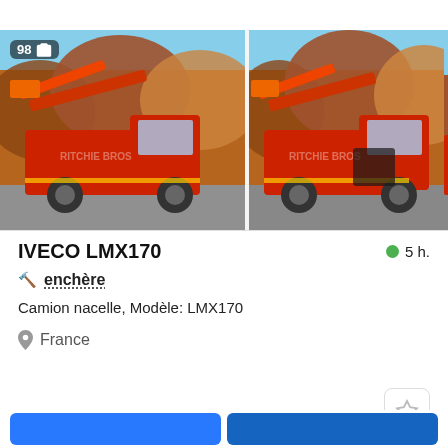[Figure (photo): Two photos of a red IVECO LMX170 truck with aerial platform (nacelle), parked on gravel with autumn foliage in background. Left image has badge showing '98' and camera icon. Third partial image visible at right edge.]
IVECO LMX170
5 h.
enchère
Camion nacelle, Modèle: LMX170
France